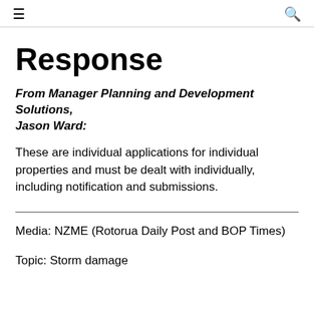≡  🔍
Response
From Manager Planning and Development Solutions, Jason Ward:
These are individual applications for individual properties and must be dealt with individually, including notification and submissions.
Media: NZME (Rotorua Daily Post and BOP Times)
Topic: Storm damage